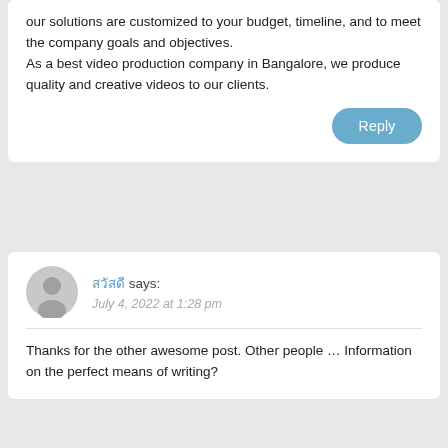our solutions are customized to your budget, timeline, and to meet the company goals and objectives. As a best video production company in Bangalore, we produce quality and creative videos to our clients.
Reply
สวัสดี says: July 4, 2022 at 1:28 pm
Thanks for the other awesome post. Other people ... Information on the perfect means of writing?